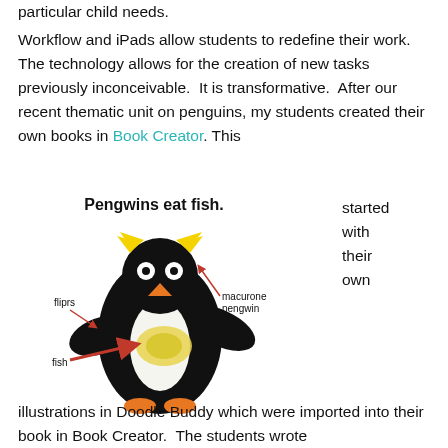particular child needs.
Workflow and iPads allow students to redefine their work.  The technology allows for the creation of new tasks previously inconceivable.  It is transformative.  After our recent thematic unit on penguins, my students created their own books in Book Creator. This started with their own
[Figure (illustration): Child's drawing of a penguin labeled 'Pengwins eat fish.' with arrows pointing to 'fliprs', 'macurone pengwin', and 'fish']
illustrations in Doodle Buddy which were imported into their book in Book Creator.  The students wrote